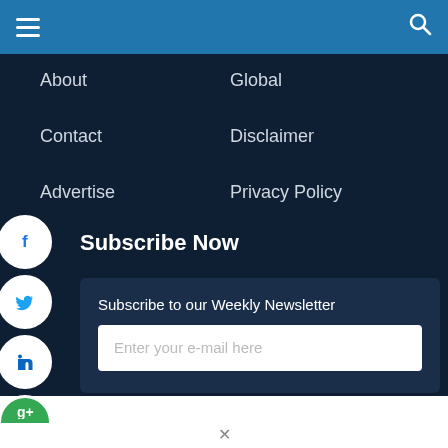Navigation bar with hamburger menu and search icon
About
Global
Contact
Disclaimer
Advertise
Privacy Policy
Subscribe Now
[Figure (infographic): Social media icons: Facebook, Twitter, LinkedIn, Google (partially visible)]
Subscribe to our Weekly Newsletter
Enter your e-mail here